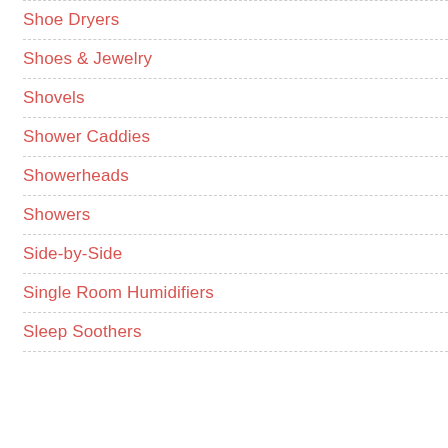Shoe Dryers
Shoes & Jewelry
Shovels
Shower Caddies
Showerheads
Showers
Side-by-Side
Single Room Humidifiers
Sleep Soothers